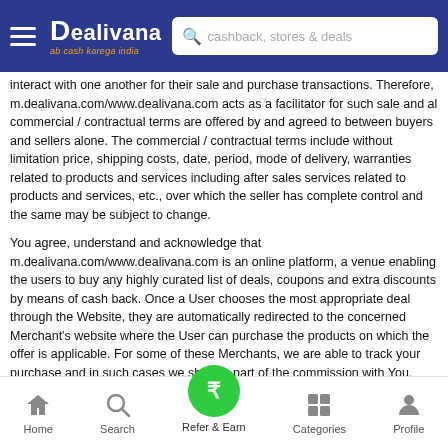Dealivana - ab cash karega India | cashback, stores & deals
interact with one another for their sale and purchase transactions. Therefore, m.dealivana.com/www.dealivana.com acts as a facilitator for such sale and al commercial / contractual terms are offered by and agreed to between buyers and sellers alone. The commercial / contractual terms include without limitation price, shipping costs, date, period, mode of delivery, warranties related to products and services including after sales services related to products and services, etc., over which the seller has complete control and the same may be subject to change.
You agree, understand and acknowledge that m.dealivana.com/www.dealivana.com is an online platform, a venue enabling the users to buy any highly curated list of deals, coupons and extra discounts by means of cash back. Once a User chooses the most appropriate deal through the Website, they are automatically redirected to the concerned Merchant's website where the User can purchase the products on which the offer is applicable. For some of these Merchants, we are able to track your purchase and in such cases we share a part of the commission with You. This is reflected in the User's account on m.dealivana.com/www.dealivana.com once the purchase is confirmed by the merchant.
Providing of cash back is solely dependent on confirmation of the purchase
Home | Search | Refer & Earn | Categories | Profile